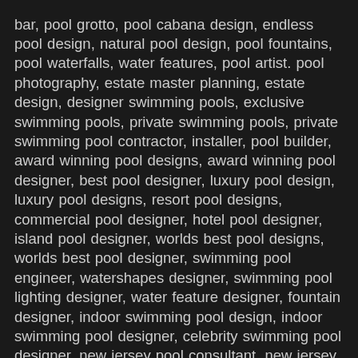bar, pool grotto, pool cabana design, endless pool design, natural pool design, pool fountains, pool waterfalls, water features, pool artist. pool photography, estate master planning, estate design, designer swimming pools, exclusive swimming pools, private swimming pools, private swimming pool contractor, installer, pool builder, award winning pool designs, award winning pool designer, best pool designer, luxury pool design, luxury pool designs, resort pool designs, commercial pool designer, hotel pool designer, island pool designer, worlds best pool designs, worlds best pool designer, swimming pool engineer, watershapes designer, swimming pool lighting designer, water feature designer, fountain designer, indoor swimming pool design, indoor swimming pool designer, celebrity swimming pool designer, new jersey pool consultant, new jersey pool contractor, nj pool builder, landscape lighting, landscape audio, outdoor audio, outdoor speakers, landscape sound, nj outdoor speakers; new jersey outdoor sound system; nj patio speakers. Caribbean Pool Designer, International Pool Designer:Auckland New Zealand, Portland Oregon, San Francisco California, Toronto Canada, Victoria Canada, Jackson Hole Wyoming, Valencia Spain, Stockholm Sweden, Budapest Hungary, Cartenega Columbia, Paris France, London England, Ho Chi...